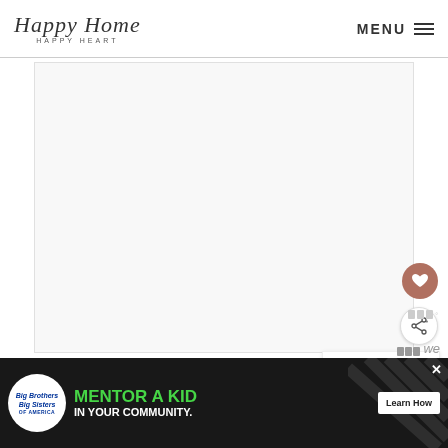Happy Home Happy Heart | MENU
[Figure (photo): Large white/blank main content image area in the center of the page]
[Figure (illustration): Heart (favorite) button - circular brown/terracotta button with white heart icon]
[Figure (illustration): Share button - circular white button with share/network icon]
WHAT'S NEXT → Simply Earth March 2022...
[Figure (photo): Thumbnail image for 'Simply Earth March 2022' article]
[Figure (infographic): Watermark/branding icon with bar symbols and superscript degree symbol]
[Figure (screenshot): Advertisement banner: Big Brothers Big Sisters - MENTOR A KID IN YOUR COMMUNITY. Learn How button.]
[Figure (illustration): Second watermark/branding overlay at bottom right of ad area]